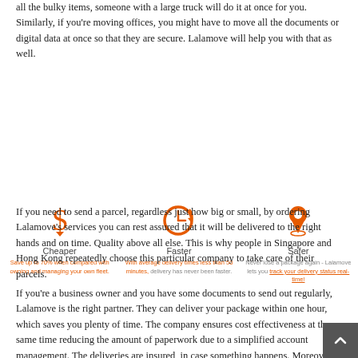all the bulky items, someone with a large truck will do it at once for you. Similarly, if you're moving offices, you might have to move all the documents or digital data at once so that they are secure. Lalamove will help you with that as well.
[Figure (infographic): Three icons in a row: dollar sign (Cheaper), clock (Faster), location pin (Safer), each with a title and short description below in orange and gray text.]
If you need to send a parcel, regardless just how big or small, by ordering Lalamove's services you can rest assured that it will be delivered to the right hands and on time. Quality above all else. This is why people in Singapore and Hong Kong repeatedly choose this particular company to take care of their parcels.
If you're a business owner and you have some documents to send out regularly, Lalamove is the right partner. They can deliver your package within one hour, which saves you plenty of time. The company ensures cost effectiveness at the same time reducing the amount of paperwork due to a simplified account management. The deliveries are insured, in case something happens. Moreover, you can access your delivery always to